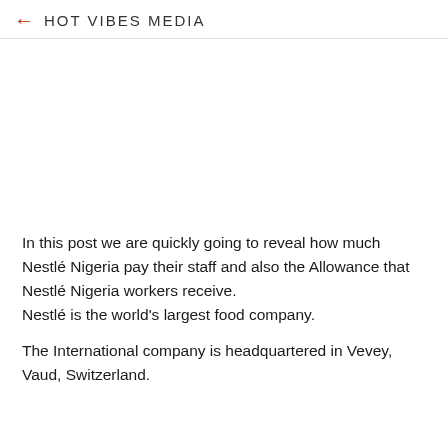← HOT VIBES MEDIA
[Figure (other): Image placeholder area (blank/white space where an image would appear)]
In this post we are quickly going to reveal how much Nestlé Nigeria pay their staff and also the Allowance that Nestlé Nigeria workers receive.
Nestlé is the world's largest food company.
The International company is headquartered in Vevey, Vaud, Switzerland.